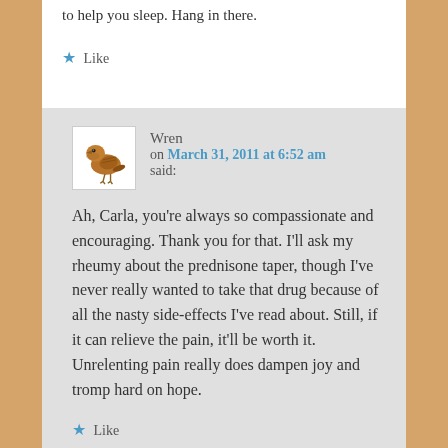to help you sleep. Hang in there.
★ Like
Wren
on March 31, 2011 at 6:52 am
said:
Ah, Carla, you're always so compassionate and encouraging. Thank you for that. I'll ask my rheumy about the prednisone taper, though I've never really wanted to take that drug because of all the nasty side-effects I've read about. Still, if it can relieve the pain, it'll be worth it. Unrelenting pain really does dampen joy and tromp hard on hope.
★ Like